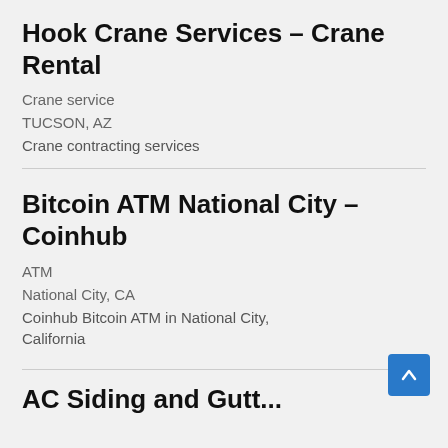Hook Crane Services – Crane Rental
Crane service
TUCSON, AZ
Crane contracting services
Bitcoin ATM National City – Coinhub
ATM
National City, CA
Coinhub Bitcoin ATM in National City, California
AC Siding and Gutt...